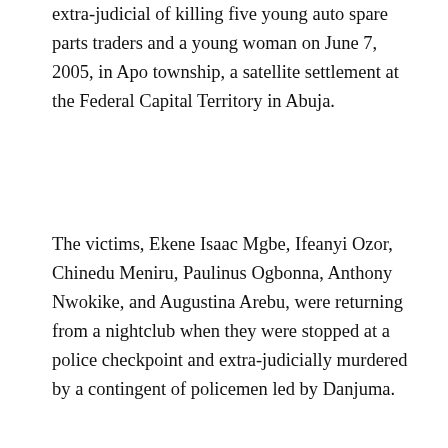extra-judicial of killing five young auto spare parts traders and a young woman on June 7, 2005, in Apo township, a satellite settlement at the Federal Capital Territory in Abuja.
The victims, Ekene Isaac Mgbe, Ifeanyi Ozor, Chinedu Meniru, Paulinus Ogbonna, Anthony Nwokike, and Augustina Arebu, were returning from a nightclub when they were stopped at a police checkpoint and extra-judicially murdered by a contingent of policemen led by Danjuma.
[Figure (photo): A 2x3 grid of portrait photos showing the six victims: a young woman (top left), and five young men. Photos are arranged in two rows of three.]